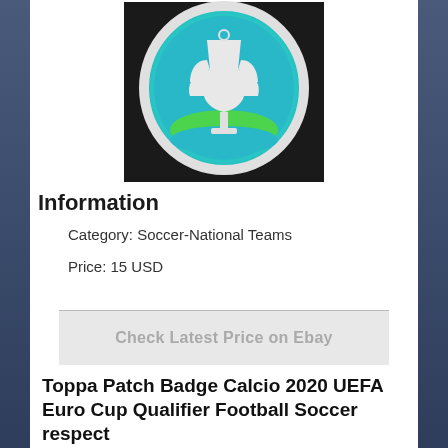[Figure (photo): Product photo of a UEFA Euro 2020 patch badge showing the tournament logo on a dark background - a circular badge with teal/blue background, white trophy silhouette, and green swoosh element]
Information
Category: Soccer-National Teams
Price: 15 USD
[Figure (screenshot): Button element reading 'Check Latest Price on Ebay']
Toppa Patch Badge Calcio 2020 UEFA Euro Cup Qualifier Football Soccer respect